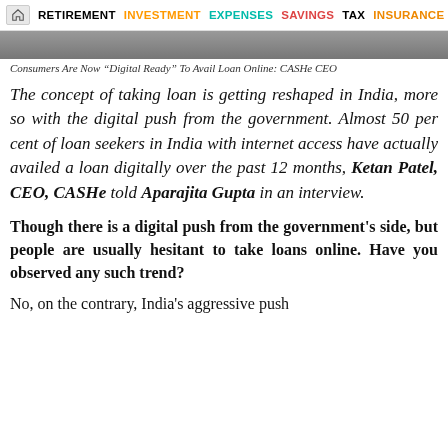RETIREMENT  INVESTMENT  EXPENSES  SAVINGS  TAX  INSURANCE
[Figure (photo): Partial photograph visible at top of article]
Consumers Are Now “Digital Ready” To Avail Loan Online: CASHe CEO
The concept of taking loan is getting reshaped in India, more so with the digital push from the government. Almost 50 per cent of loan seekers in India with internet access have actually availed a loan digitally over the past 12 months, Ketan Patel, CEO, CASHe told Aparajita Gupta in an interview.
Though there is a digital push from the government’s side, but people are usually hesitant to take loans online. Have you observed any such trend?
No, on the contrary, India’s aggressive push